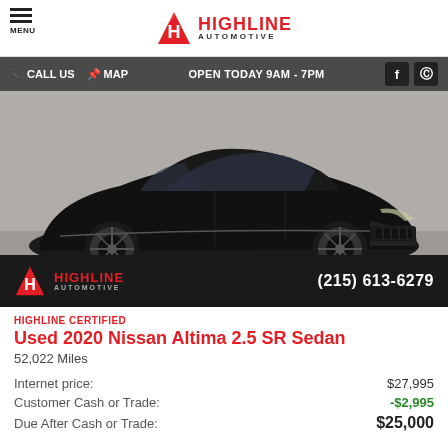MENU | HIGHLINE AUTOMOTIVE
CALL US  MAP  OPEN TODAY 9AM - 7PM
[Figure (photo): Black 2020 Nissan Altima 2.5 SR Sedan photographed in a showroom with Highline Automotive logo overlay and phone number (215) 613-6279]
HIGHLINE CERTIFIED
Used 2020 Nissan Altima 2.5 SR Sedan
52,022 Miles
|  |  |
| --- | --- |
| Internet price: | $27,995 |
| Customer Cash or Trade: | -$2,995 |
| Due After Cash or Trade: | $25,000 |